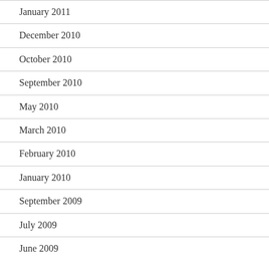January 2011
December 2010
October 2010
September 2010
May 2010
March 2010
February 2010
January 2010
September 2009
July 2009
June 2009